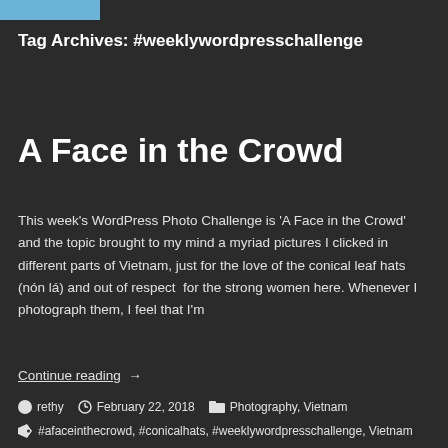[Figure (other): Blue rectangle at top left corner of page]
Tag Archives: #weeklywordpresschallenge
A Face in the Crowd
This week's WordPress Photo Challenge is 'A Face in the Crowd' and the topic brought to my mind a myriad pictures I clicked in different parts of Vietnam, just for the love of the conical leaf hats (nón lá) and out of respect  for the strong women here. Whenever I photograph them, I feel that I'm
Continue reading  →
rethy  February 22, 2018  Photography, Vietnam
#afaceinthecrowd, #conicalhats, #weeklywordpresschallenge, Vietnam